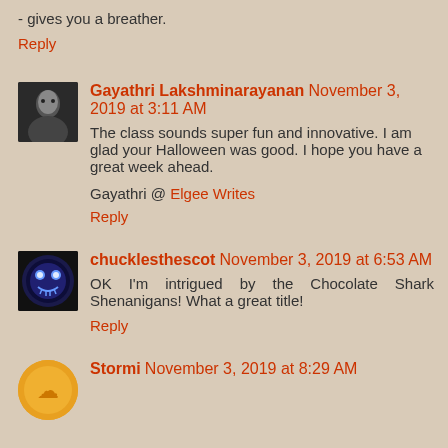- gives you a breather.
Reply
Gayathri Lakshminarayanan November 3, 2019 at 3:11 AM
The class sounds super fun and innovative. I am glad your Halloween was good. I hope you have a great week ahead.
Gayathri @ Elgee Writes
Reply
chucklesthescot November 3, 2019 at 6:53 AM
OK I'm intrigued by the Chocolate Shark Shenanigans! What a great title!
Reply
Stormi November 3, 2019 at 8:29 AM